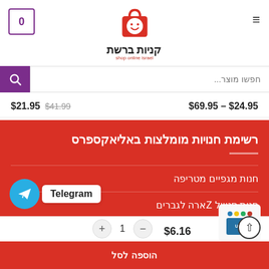[Figure (screenshot): E-commerce website header with shopping cart icon showing 0, red shopping bag logo with smiley face, site name in Hebrew 'קניות ברשת', hamburger menu icon, and purple search bar with Hebrew placeholder text 'חפשו מוצר...']
$21.95  $41.99      $69.95 – $24.95
רשימת חנויות מומלצות באליאקספרס
חנות מגפיים מטריפה
חנות סטייל Zארה לגברים
חנות מותגים מובח 2022
[Figure (logo): Telegram logo circle icon (blue with white paper plane)]
Telegram
+ 1 -   $6.16
[Figure (photo): USB OBD2 or USB hub product image with colored dots]
הוספה לסל